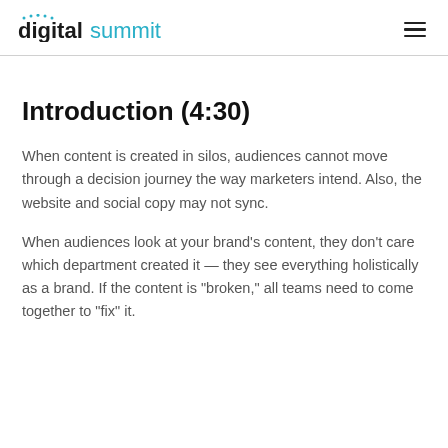digitalsummit
Introduction (4:30)
When content is created in silos, audiences cannot move through a decision journey the way marketers intend. Also, the website and social copy may not sync.
When audiences look at your brand’s content, they don’t care which department created it — they see everything holistically as a brand. If the content is “broken,” all teams need to come together to “fix” it.